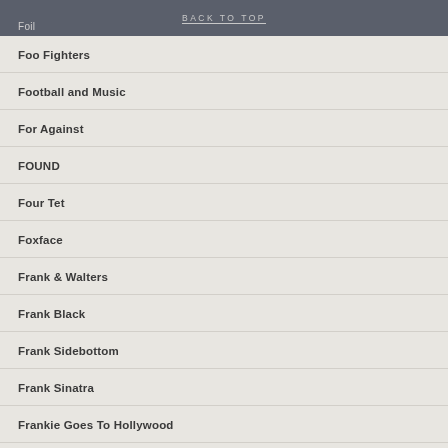BACK TO TOP
Foo Fighters
Football and Music
For Against
FOUND
Four Tet
Foxface
Frank & Walters
Frank Black
Frank Sidebottom
Frank Sinatra
Frankie Goes To Hollywood
Frantic Elevators